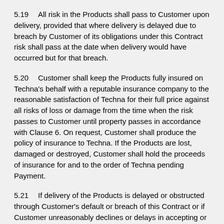5.19    All risk in the Products shall pass to Customer upon delivery, provided that where delivery is delayed due to breach by Customer of its obligations under this Contract risk shall pass at the date when delivery would have occurred but for that breach.
5.20    Customer shall keep the Products fully insured on Techna's behalf with a reputable insurance company to the reasonable satisfaction of Techna for their full price against all risks of loss or damage from the time when the risk passes to Customer until property passes in accordance with Clause 6. On request, Customer shall produce the policy of insurance to Techna. If the Products are lost, damaged or destroyed, Customer shall hold the proceeds of insurance for and to the order of Techna pending Payment.
5.21    If delivery of the Products is delayed or obstructed through Customer's default or breach of this Contract or if Customer unreasonably declines or delays in accepting or taking delivery or receipt of the Products, the risk shall...